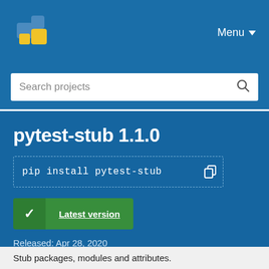[Figure (logo): PyPI logo: blue/yellow cube boxes stacked]
Menu ▾
Search projects
pytest-stub 1.1.0
pip install pytest-stub
Latest version
Released: Apr 28, 2020
Stub packages, modules and attributes.